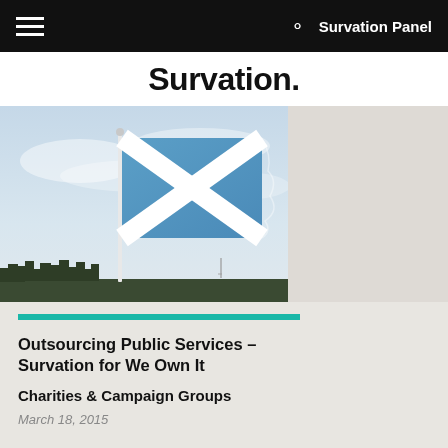Survation Panel
Survation.
[Figure (photo): Scottish Saltire flag (blue with white diagonal cross) flying on a flagpole against a cloudy sky, with trees visible at the bottom]
Outsourcing Public Services – Survation for We Own It
Charities & Campaign Groups
March 18, 2015